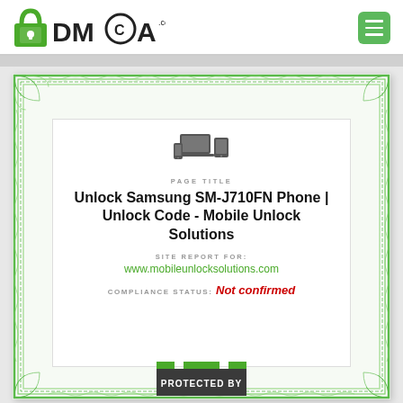DMCA.com logo and menu button
[Figure (infographic): DMCA.com site report certificate with green guilloché border pattern showing page title 'Unlock Samsung SM-J710FN Phone | Unlock Code - Mobile Unlock Solutions', site URL www.mobileunlocksolutions.com, compliance status 'Not confirmed', and a 'PROTECTED BY' badge at the bottom.]
Unlock Samsung SM-J710FN Phone | Unlock Code - Mobile Unlock Solutions
PAGE TITLE
SITE REPORT FOR: www.mobileunlocksolutions.com
COMPLIANCE STATUS: Not confirmed
PROTECTED BY